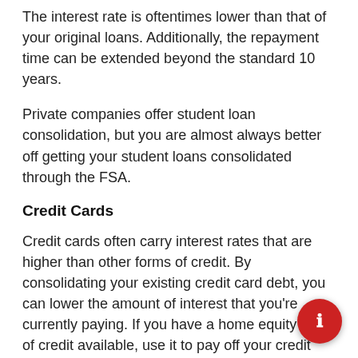The interest rate is oftentimes lower than that of your original loans. Additionally, the repayment time can be extended beyond the standard 10 years.
Private companies offer student loan consolidation, but you are almost always better off getting your student loans consolidated through the FSA.
Credit Cards
Credit cards often carry interest rates that are higher than other forms of credit. By consolidating your existing credit card debt, you can lower the amount of interest that you’re currently paying. If you have a home equity line of credit available, use it to pay off your credit cards. You'll lower your interest rate, and interest paid on home equity